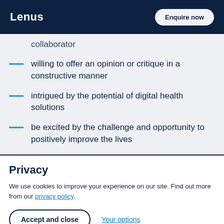Lenus  Enquire now
collaborator
willing to offer an opinion or critique in a constructive manner
intrigued by the potential of digital health solutions
be excited by the challenge and opportunity to positively improve the lives
Privacy
We use cookies to improve your experience on our site. Find out more from our privacy policy.
Accept and close   Your options